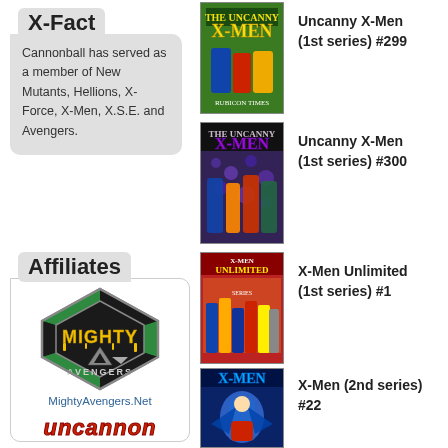X-Fact
Cannonball has served as a member of New Mutants, Hellions, X-Force, X-Men, X.S.E. and Avengers.
Affiliates
[Figure (logo): Mighty Avengers hexagonal logo with green and black hex design, yellow MIGHTY text with drips, AVENGERS text below, and arrow motif]
MightyAvengers.Net
[Figure (logo): Uncanny logo in red retro comic lettering]
[Figure (photo): Comic book cover: Uncanny X-Men (1st series) #299]
Uncanny X-Men (1st series) #299
[Figure (photo): Comic book cover: Uncanny X-Men (1st series) #300]
Uncanny X-Men (1st series) #300
[Figure (photo): Comic book cover: X-Men Unlimited (1st series) #1]
X-Men Unlimited (1st series) #1
[Figure (photo): Comic book cover: X-Men (2nd series) #22]
X-Men (2nd series) #22